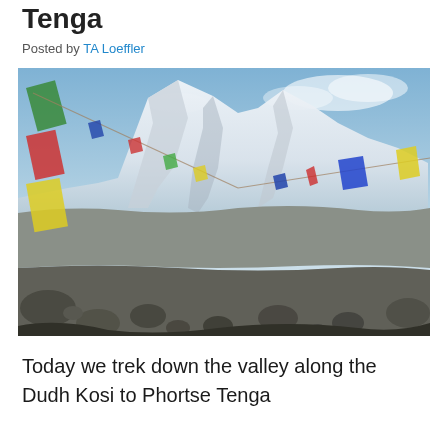Tenga
Posted by TA Loeffler
[Figure (photo): Colorful Tibetan Buddhist prayer flags strung on lines in the foreground with a vast rocky glacial valley and massive snow-covered Himalayan mountain peaks (including Lhotse face) under a blue sky with light clouds in the background. Rocky moraine debris covers the valley floor.]
Today we trek down the valley along the Dudh Kosi to Phortse Tenga